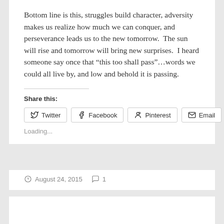Bottom line is this, struggles build character, adversity makes us realize how much we can conquer, and perseverance leads us to the new tomorrow.  The sun will rise and tomorrow will bring new surprises.  I heard someone say once that “this too shall pass”…words we could all live by, and low and behold it is passing.
Share this:
Loading...
August 24, 2015   1